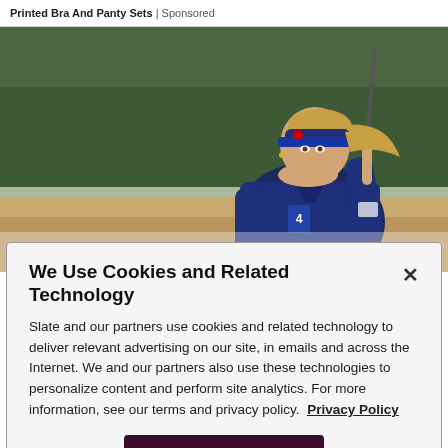Printed Bra And Panty Sets | Sponsored
[Figure (photo): A female golfer in a blue polo shirt and blue visor crouching on a golf course, holding a golf club, with trees in the background.]
We Use Cookies and Related Technology
Slate and our partners use cookies and related technology to deliver relevant advertising on our site, in emails and across the Internet. We and our partners also use these technologies to personalize content and perform site analytics. For more information, see our terms and privacy policy. Privacy Policy
OK